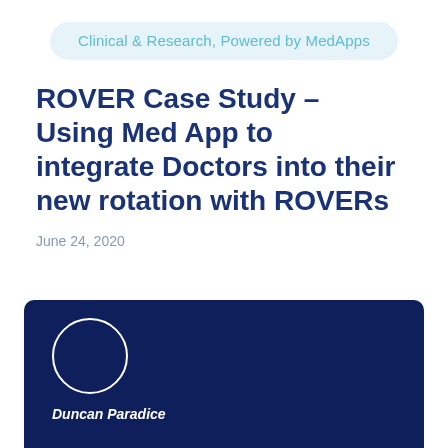Clinical & Research, Powered by MedApps
ROVER Case Study – Using Med App to integrate Doctors into their new rotation with ROVERs
June 24, 2020
[Figure (illustration): Dark navy blue author card with a circular avatar placeholder (white circle outline) and author name 'Duncan Paradice' in bold italic white text below.]